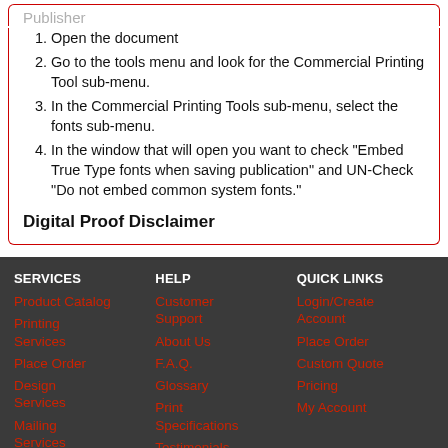Publisher
Open the document
Go to the tools menu and look for the Commercial Printing Tool sub-menu.
In the Commercial Printing Tools sub-menu, select the fonts sub-menu.
In the window that will open you want to check "Embed True Type fonts when saving publication" and UN-Check "Do not embed common system fonts."
Digital Proof Disclaimer
SERVICES
Product Catalog
Printing Services
Place Order
Design Services
Mailing Services
HELP
Customer Support
About Us
F.A.Q.
Glossary
Print Specifications
Testimonials
QUICK LINKS
Login/Create Account
Place Order
Custom Quote
Pricing
My Account